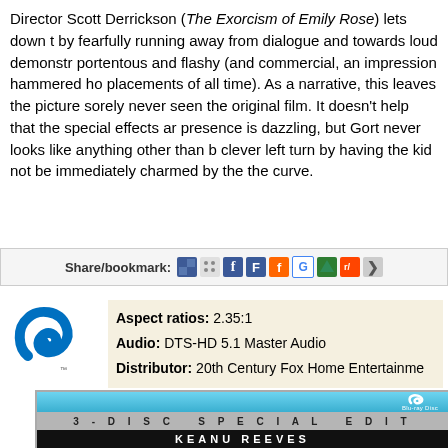Director Scott Derrickson (The Exorcism of Emily Rose) lets down t... by fearfully running away from dialogue and towards loud demonstr... portentous and flashy (and commercial, an impression hammered ho... placements of all time). As a narrative, this leaves the picture sorely... never seen the original film. It doesn't help that the special effects ar... presence is dazzling, but Gort never looks like anything other than b... clever left turn by having the kid not be immediately charmed by the... the curve.
[Figure (screenshot): Share/bookmark bar with social media icons including Delicious, Digg, Facebook, FriendFeed, FeedBurner, Google, Netscape, Reddit and more]
[Figure (logo): Blu-ray logo (blue stylized b shape)]
Aspect ratios: 2.35:1
Audio: DTS-HD 5.1 Master Audio
Distributor: 20th Century Fox Home Entertainment
[Figure (photo): Blu-ray disc case showing 3-Disc Special Edition with Keanu Reeves title, Blu-ray Disc logo at top]